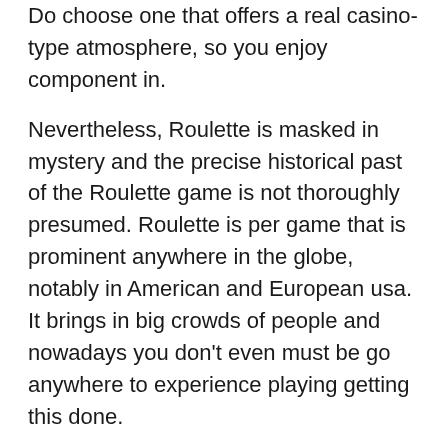Do choose one that offers a real casino-type atmosphere, so you enjoy component in.
Nevertheless, Roulette is masked in mystery and the precise historical past of the Roulette game is not thoroughly presumed. Roulette is per game that is prominent anywhere in the globe, notably in American and European usa. It brings in big crowds of people and nowadays you don't even must be go anywhere to experience playing getting this done.
Online casinos are rated on a scale of a single to 10. Some review sites may rate them on a star system of 1 through different. To make it easier think of 1% to 100%.